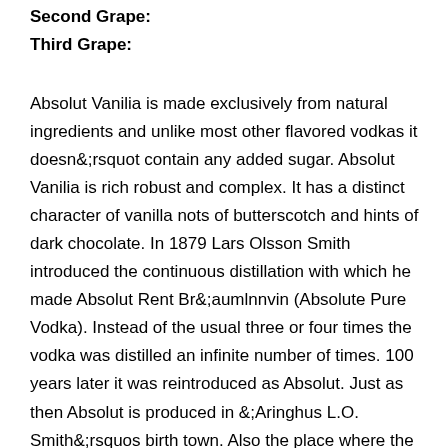Second Grape:
Third Grape:
Absolut Vanilia is made exclusively from natural ingredients and unlike most other flavored vodkas it doesn&;rsquot contain any added sugar. Absolut Vanilia is rich robust and complex. It has a distinct character of vanilla nots of butterscotch and hints of dark chocolate. In 1879 Lars Olsson Smith introduced the continuous distillation with which he made Absolut Rent Br&;aumlnnvin (Absolute Pure Vodka). Instead of the usual three or four times the vodka was distilled an infinite number of times. 100 years later it was reintroduced as Absolut. Just as then Absolut is produced in &;Aringhus L.O. Smith&;rsquos birth town. Also the place where the wheat used for making the vodka is